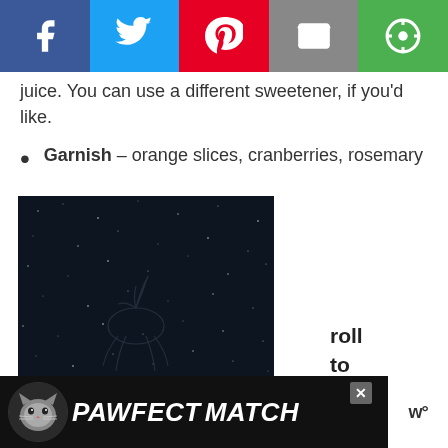Social share bar: Facebook, Twitter, Pinterest, Email, Other
juice. You can use a different sweetener, if you'd like.
Garnish – orange slices, cranberries, rosemary
[Figure (photo): Dark/night sky background with a faint illustrated figure (horse or unicorn) visible in the center]
[Figure (screenshot): Partial overlay box with text: 'roll to on' and weather widget showing 'w°']
[Figure (infographic): PAWFECT MATCH advertisement banner with cat photo and close button]